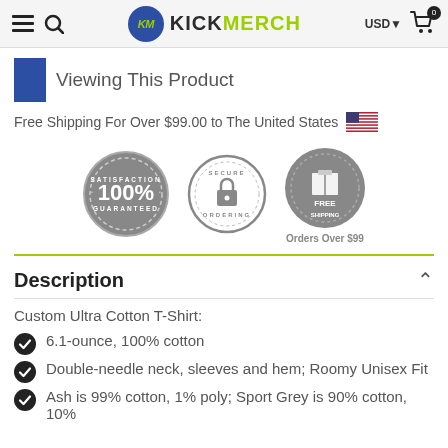KICKMERCH — USD — Cart (0)
Viewing This Product
Free Shipping For Over $99.00 to The United States
[Figure (infographic): Three trust badges: 100% Satisfaction Guaranteed, Secure Ordering, Free Shipping Orders Over $99]
Description
Custom Ultra Cotton T-Shirt:
6.1-ounce, 100% cotton
Double-needle neck, sleeves and hem; Roomy Unisex Fit
Ash is 99% cotton, 1% poly; Sport Grey is 90% cotton, 10%